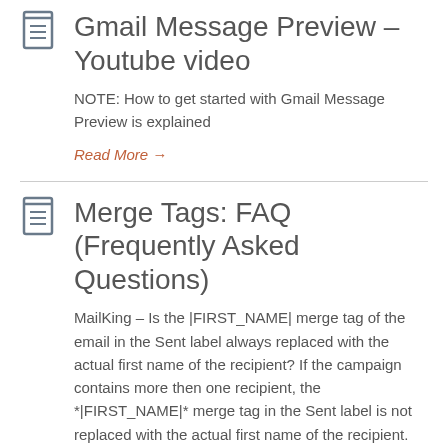Gmail Message Preview – Youtube video
NOTE: How to get started with Gmail Message Preview is explained
Read More →
Merge Tags: FAQ (Frequently Asked Questions)
MailKing – Is the |FIRST_NAME| merge tag of the email in the Sent label always replaced with the actual first name of the recipient? If the campaign contains more then one recipient, the *|FIRST_NAME|* merge tag in the Sent label is not replaced with the actual first name of the recipient. However, the actual email [...]